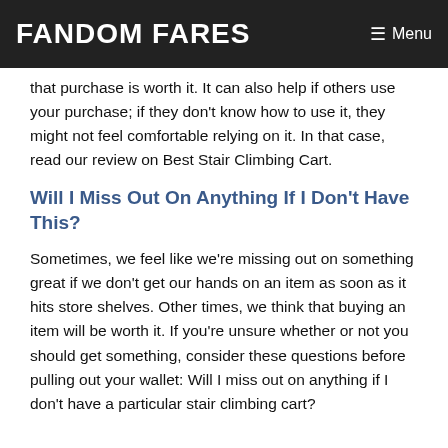FANDOM FARES  ☰ Menu
that purchase is worth it. It can also help if others use your purchase; if they don't know how to use it, they might not feel comfortable relying on it. In that case, read our review on Best Stair Climbing Cart.
Will I Miss Out On Anything If I Don't Have This?
Sometimes, we feel like we're missing out on something great if we don't get our hands on an item as soon as it hits store shelves. Other times, we think that buying an item will be worth it. If you're unsure whether or not you should get something, consider these questions before pulling out your wallet: Will I miss out on anything if I don't have a particular stair climbing cart?